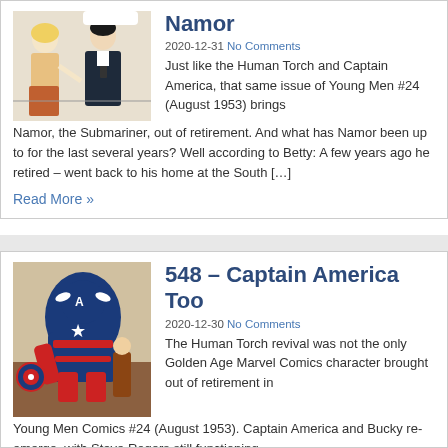[Figure (illustration): Comic book style illustration showing two people, a blonde woman and a dark-haired man in a suit]
Namor
2020-12-31 No Comments
Just like the Human Torch and Captain America, that same issue of Young Men #24 (August 1953) brings Namor, the Submariner, out of retirement. And what has Namor been up to for the last several years? Well according to Betty: A few years ago he retired – went back to his home at the South […]
Read More »
[Figure (illustration): Comic book style illustration showing Captain America in blue costume with red and white details]
548 – Captain America Too
2020-12-30 No Comments
The Human Torch revival was not the only Golden Age Marvel Comics character brought out of retirement in Young Men Comics #24 (August 1953). Captain America and Bucky re-emerge, with Steve Rogers still functioning